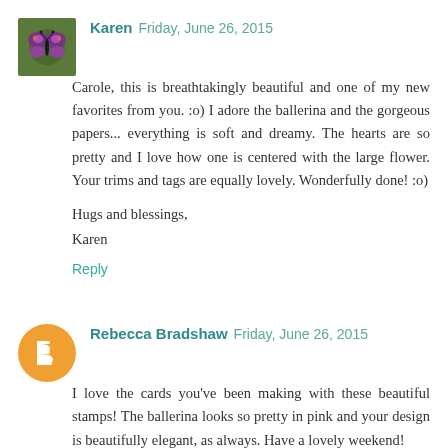[Figure (photo): Small square avatar photo of a butterfly on a flower]
Karen  Friday, June 26, 2015
Carole, this is breathtakingly beautiful and one of my new favorites from you. :o) I adore the ballerina and the gorgeous papers... everything is soft and dreamy. The hearts are so pretty and I love how one is centered with the large flower. Your trims and tags are equally lovely. Wonderfully done! :o)
Hugs and blessings,
Karen
Reply
[Figure (logo): Orange circle avatar with white Blogger B icon]
Rebecca Bradshaw  Friday, June 26, 2015
I love the cards you've been making with these beautiful stamps! The ballerina looks so pretty in pink and your design is beautifully elegant, as always. Have a lovely weekend!
Rebecca.
x
Reply